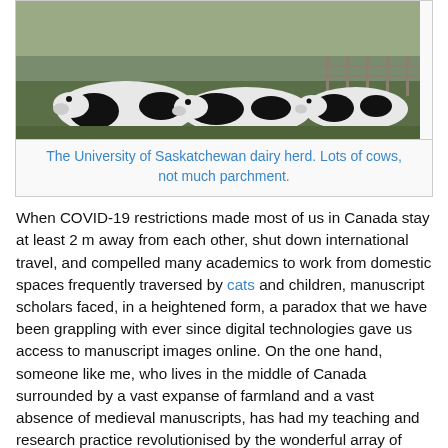[Figure (photo): Photo of cows (black and white dairy cattle) lying on grass at the University of Saskatchewan dairy herd, with a fence visible in the background.]
The University of Saskatchewan dairy herd. Lots of cows, not much parchment.
When COVID-19 restrictions made most of us in Canada stay at least 2 m away from each other, shut down international travel, and compelled many academics to work from domestic spaces frequently traversed by cats and children, manuscript scholars faced, in a heightened form, a paradox that we have been grappling with ever since digital technologies gave us access to manuscript images online. On the one hand, someone like me, who lives in the middle of Canada surrounded by a vast expanse of farmland and a vast absence of medieval manuscripts, has had my teaching and research practice revolutionised by the wonderful array of manuscript images freely available on the Web, thanks to the generosity of many holding institutions and their funding sources. On the other hand, any manuscript scholar knows that staring at an image on a screen is not the same as holding a manuscript in one's hands. Digital technology